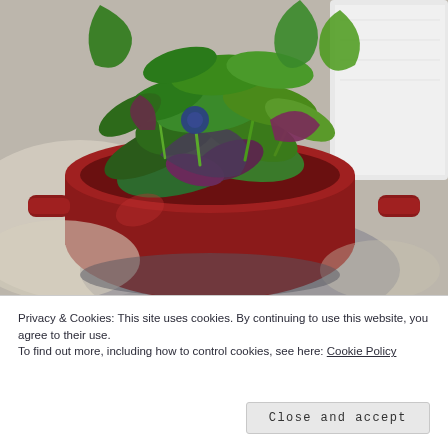[Figure (photo): A red/dark red pot or bowl filled with fresh mixed salad greens and leaves including spinach, arugula, and purple leaves, sitting on a light grey countertop. A white napkin or paper towel is visible in the upper right corner.]
Privacy & Cookies: This site uses cookies. By continuing to use this website, you agree to their use.
To find out more, including how to control cookies, see here: Cookie Policy
Close and accept